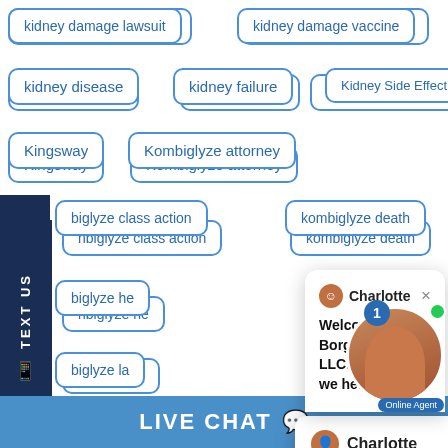kidney damage lawsuit
kidney damage vaccine
kidney disease
kidney failure
Kidney Side Effect
Kingsway
Kombiglyze attorney
nbiglyze class action
kombiglyze death
nbiglyze he...
nbiglyze la...
lettuce attorney
lettuce class action
lettuce...
lettuce illness
lettuce lawsuit
lettuce lawyer...
[Figure (screenshot): Chat popup from Charlotte at Borgess Law, LLC saying 'Welcome to Borgess Law, LLC! How can we help you?' with an online agent avatar and badge showing 1 unread message]
LIVE CHAT